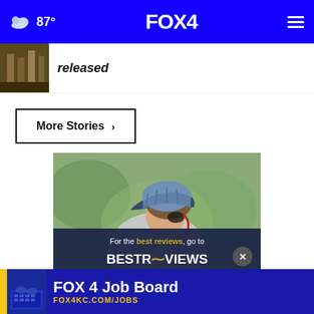87° FOX 4
released
More Stories ›
[Figure (photo): Advertisement: Woman wearing a baseball cap adjusting earphones outdoors, with BestReviews ad overlay reading 'For the best reviews, go to BESTREVIEWS']
[Figure (advertisement): FOX 4 Job Board banner advertisement for FOX4KC.COM/JOBS]